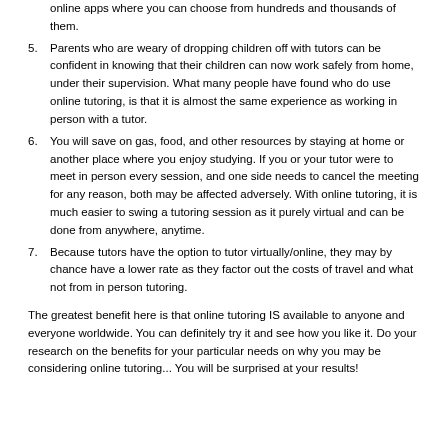online apps where you can choose from hundreds and thousands of them.
5. Parents who are weary of dropping children off with tutors can be confident in knowing that their children can now work safely from home, under their supervision. What many people have found who do use online tutoring, is that it is almost the same experience as working in person with a tutor.
6. You will save on gas, food, and other resources by staying at home or another place where you enjoy studying. If you or your tutor were to meet in person every session, and one side needs to cancel the meeting for any reason, both may be affected adversely. With online tutoring, it is much easier to swing a tutoring session as it purely virtual and can be done from anywhere, anytime.
7. Because tutors have the option to tutor virtually/online, they may by chance have a lower rate as they factor out the costs of travel and what not from in person tutoring.
The greatest benefit here is that online tutoring IS available to anyone and everyone worldwide. You can definitely try it and see how you like it. Do your research on the benefits for your particular needs on why you may be considering online tutoring... You will be surprised at your results!